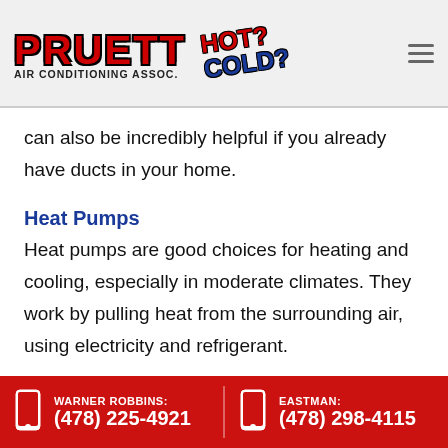[Figure (logo): Pruett Air Conditioning Assoc. logo with 'Hot? Cold?' tagline in red and blue stylized text]
can also be incredibly helpful if you already have ducts in your home.
Heat Pumps
Heat pumps are good choices for heating and cooling, especially in moderate climates. They work by pulling heat from the surrounding air, using electricity and refrigerant.
The heat pump simply moves air from one place to another. The majority of modern heat pumps
WARNER ROBBINS: (478) 225-4921  EASTMAN: (478) 298-4115